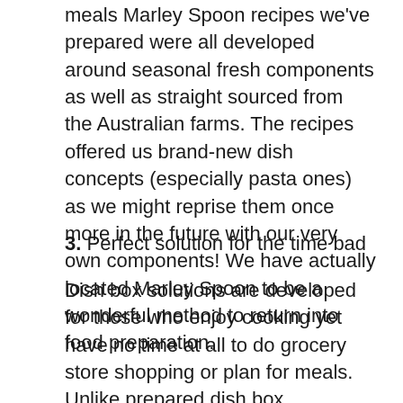meals Marley Spoon recipes we've prepared were all developed around seasonal fresh components as well as straight sourced from the Australian farms. The recipes offered us brand-new dish concepts (especially pasta ones) as we might reprise them once more in the future with our very own components! We have actually located Marley Spoon to be a wonderful method to return into food preparation.
3. Perfect solution for the time bad
Dish box solutions are developed for those who enjoy cooking yet have no time at all to do grocery store shopping or plan for meals. Unlike prepared dish box, individuals do enjoy completing the day cooking with fresh